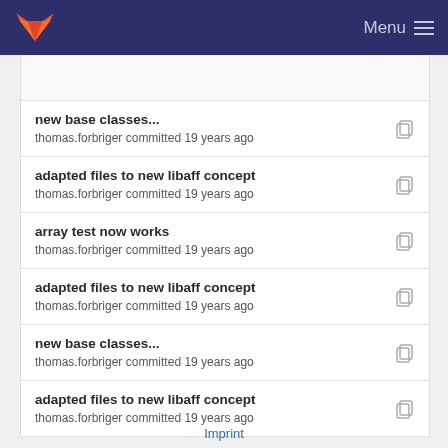GitLab — Menu
new base classes...
thomas.forbriger committed 19 years ago
adapted files to new libaff concept
thomas.forbriger committed 19 years ago
array test now works
thomas.forbriger committed 19 years ago
adapted files to new libaff concept
thomas.forbriger committed 19 years ago
new base classes...
thomas.forbriger committed 19 years ago
adapted files to new libaff concept
thomas.forbriger committed 19 years ago
Imprint